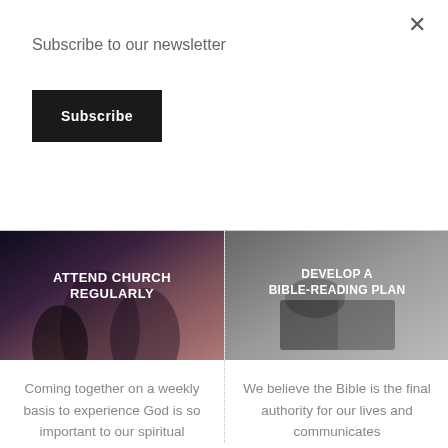Subscribe to our newsletter
Subscribe
[Figure (photo): Person with raised hands at church worship service, dark concert lighting. Text overlay: ATTEND CHURCH REGULARLY]
[Figure (photo): Black and white photo of hands reading a Bible. Text overlay: DEVELOP A BIBLE-READING PLAN]
Coming together on a weekly basis to experience God is so important to our spiritual
We believe the Bible is the final authority for our lives and communicates